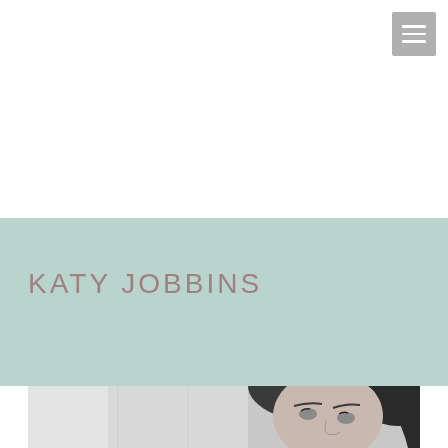[Figure (other): Hamburger menu icon button, grey square with three white horizontal lines, top right corner]
KATY JOBBINS
[Figure (photo): Black and white portrait photograph of a dark-haired woman looking upward, partially cropped at bottom of page]